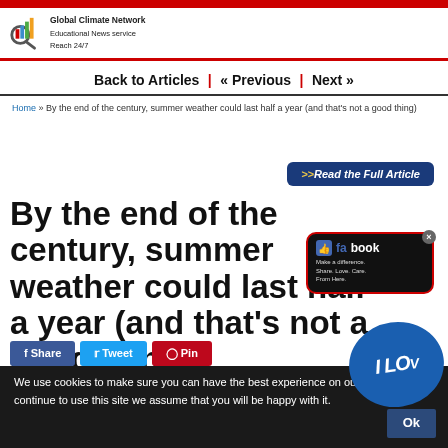Global Climate Network Educational News service Reach 24/7
Back to Articles | « Previous | Next »
Home » By the end of the century, summer weather could last half a year (and that's not a good thing)
>>Read the Full Article
By the end of the century, summer weather could last half a year (and that's not a good thing)
[Figure (screenshot): Facebook social popup overlay with thumbs up icon, text: LIKE fa book Make a difference. Share. Love. Care. From Here. I LOU (heart badge), with close X button]
Share  Tweet  Pin
We use cookies to make sure you can have the best experience on our website. If you continue to use this site we assume that you will be happy with it.  Ok